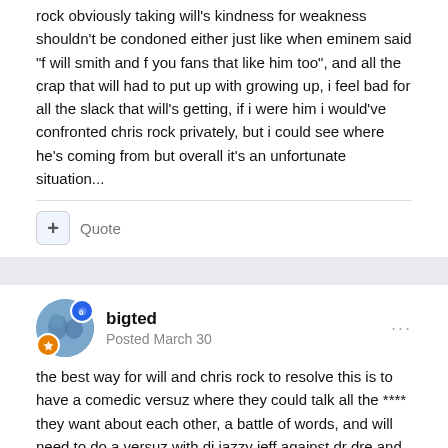rock obviously taking will's kindness for weakness shouldn't be condoned either just like when eminem said "f will smith and f you fans that like him too", and all the crap that will had to put up with growing up, i feel bad for all the slack that will's getting, if i were him i would've confronted chris rock privately, but i could see where he's coming from but overall it's an unfortunate situation...
+ Quote
bigted
Posted March 30
the best way for will and chris rock to resolve this is to have a comedic versuz where they could talk all the **** they want about each other, a battle of words, and will need to do a versuz with dj jazzy jeff against dr dre and eminem and settle these beefs with the battle of words and creativity which he does best instead of fists....